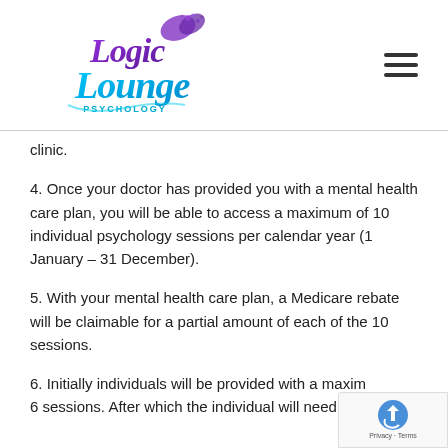[Figure (logo): Logic Lounge Psychology logo with butterfly and stylized text in purple and cyan/blue colors]
clinic.
4. Once your doctor has provided you with a mental health care plan, you will be able to access a maximum of 10 individual psychology sessions per calendar year (1 January – 31 December).
5. With your mental health care plan, a Medicare rebate will be claimable for a partial amount of each of the 10 sessions.
6. Initially individuals will be provided with a maxim... 6 sessions. After which the individual will need to return